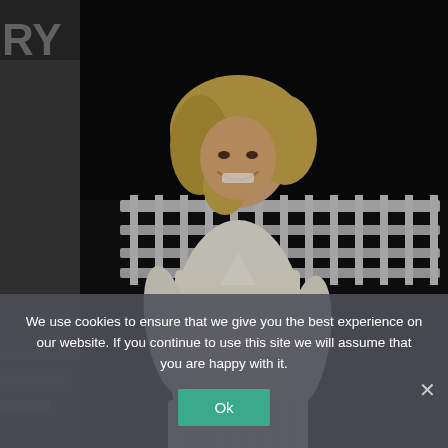[Figure (photo): A woman with blonde hair smiling, wearing a cream/white knit sweater and pleated skirt, standing outdoors at night in front of a white metal fence railing. Partial text 'RY' visible in upper left corner.]
We use cookies to ensure that we give you the best experience on our website. If you continue to use this site we will assume that you are happy with it.